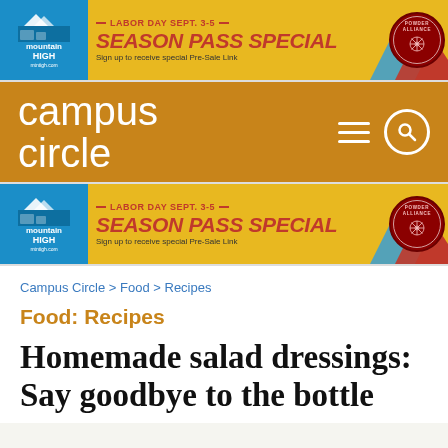[Figure (infographic): Mountain High ski resort advertisement banner. Blue left panel with Mountain High logo, gold center with 'LABOR DAY SEPT. 3-5' and 'SEASON PASS SPECIAL' in red, 'Sign up to receive special Pre-Sale Link' tagline, right side with mountain silhouettes and Powder Alliance badge.]
[Figure (logo): Campus Circle website header/logo in orange-brown background with white text 'campus circle', hamburger menu icon and search icon on the right.]
[Figure (infographic): Mountain High ski resort advertisement banner (repeated). Same as the first banner: LABOR DAY SEPT. 3-5, SEASON PASS SPECIAL, Sign up to receive special Pre-Sale Link.]
Campus Circle > Food > Recipes
Food: Recipes
Homemade salad dressings: Say goodbye to the bottle